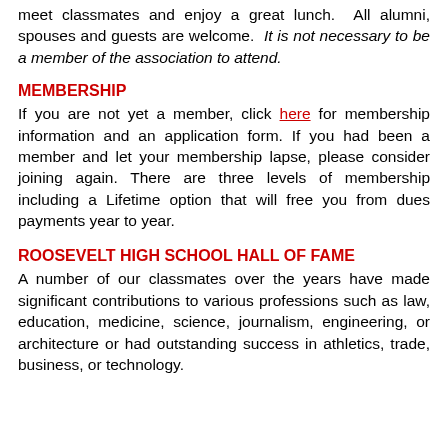meet classmates and enjoy a great lunch. All alumni, spouses and guests are welcome. It is not necessary to be a member of the association to attend.
MEMBERSHIP
If you are not yet a member, click here for membership information and an application form. If you had been a member and let your membership lapse, please consider joining again. There are three levels of membership including a Lifetime option that will free you from dues payments year to year.
ROOSEVELT HIGH SCHOOL HALL OF FAME
A number of our classmates over the years have made significant contributions to various professions such as law, education, medicine, science, journalism, engineering, or architecture or had outstanding success in athletics, trade, business, or technology.